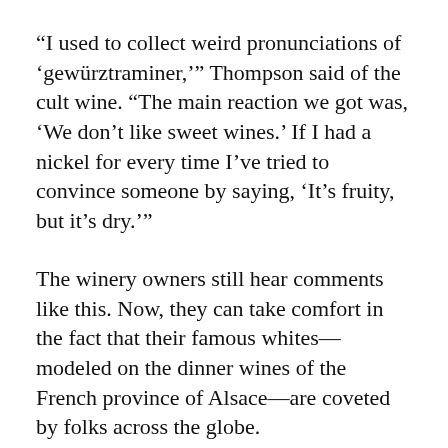“I used to collect weird pronunciations of ‘gewürztraminer,’” Thompson said of the cult wine. “The main reaction we got was, ‘We don’t like sweet wines.’ If I had a nickel for every time I’ve tried to convince someone by saying, ‘It’s fruity, but it’s dry.’”
The winery owners still hear comments like this. Now, they can take comfort in the fact that their famous whites—modeled on the dinner wines of the French province of Alsace—are coveted by folks across the globe.
So how did an academic become a winemaker? And what about those pinot noirs I foreshadowed earlier?
I’m getting on with it.